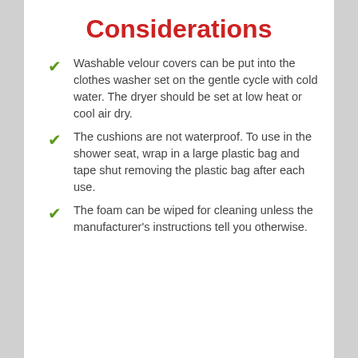Considerations
Washable velour covers can be put into the clothes washer set on the gentle cycle with cold water. The dryer should be set at low heat or cool air dry.
The cushions are not waterproof. To use in the shower seat, wrap in a large plastic bag and tape shut removing the plastic bag after each use.
The foam can be wiped for cleaning unless the manufacturer's instructions tell you otherwise.